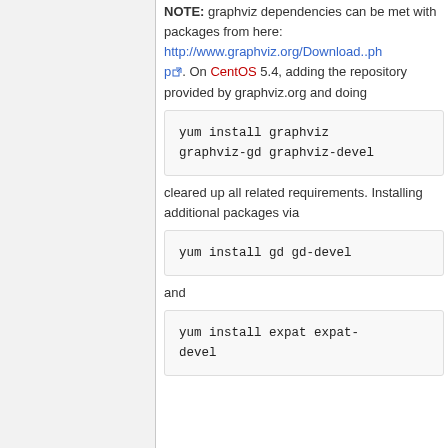NOTE: graphviz dependencies can be met with packages from here: http://www.graphviz.org/Download..php. On CentOS 5.4, adding the repository provided by graphviz.org and doing
yum install graphviz graphviz-gd graphviz-devel
cleared up all related requirements. Installing additional packages via
yum install gd gd-devel
and
yum install expat expat-devel